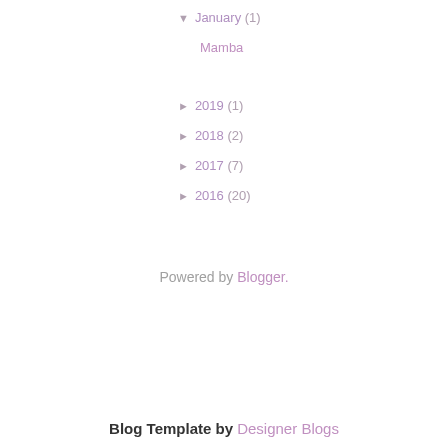▼ January (1)
Mamba
► 2019 (1)
► 2018 (2)
► 2017 (7)
► 2016 (20)
Powered by Blogger.
Blog Template by Designer Blogs